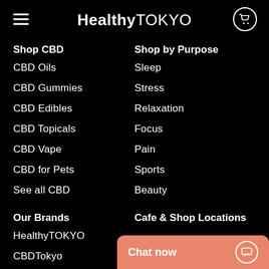HealthyTOKYO
Shop CBD
CBD Oils
CBD Gummies
CBD Edibles
CBD Topicals
CBD Vape
CBD for Pets
See all CBD
Shop by Purpose
Sleep
Stress
Relaxation
Focus
Pain
Sports
Beauty
Our Brands
HealthyTOKYO
CBDTokyo
Cafe & Shop Locations
Chat now